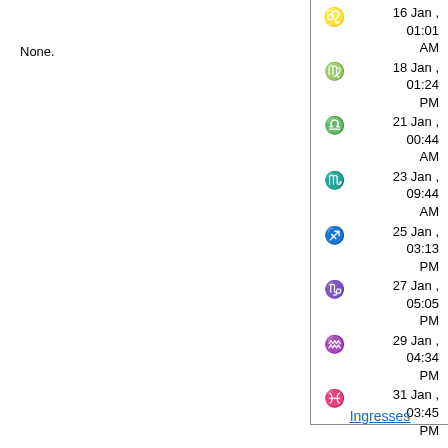None.
| Sign | Date/Time |
| --- | --- |
| Leo | 16 Jan , 01:01 AM |
| Virgo | 18 Jan , 01:24 PM |
| Libra | 21 Jan , 00:44 AM |
| Scorpio | 23 Jan , 09:44 AM |
| Sagittarius | 25 Jan , 03:13 PM |
| Capricorn | 27 Jan , 05:05 PM |
| Aquarius | 29 Jan , 04:34 PM |
| Pisces | 31 Jan , 03:45 PM |
Ingresses